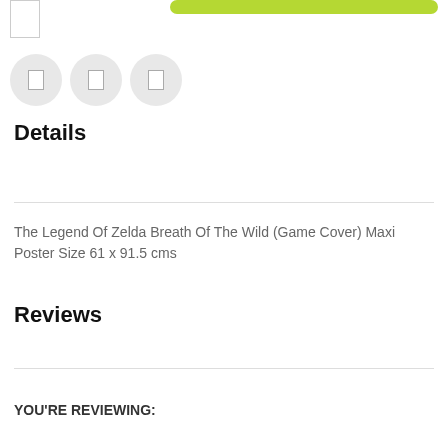[Figure (screenshot): Green rounded button at top right, placeholder thumbnail image at top left]
[Figure (screenshot): Three circular thumbnail placeholder icons in a row]
Details
The Legend Of Zelda Breath Of The Wild (Game Cover) Maxi Poster Size 61 x 91.5 cms
Reviews
YOU'RE REVIEWING: